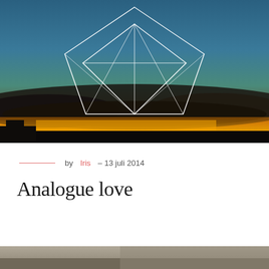[Figure (photo): Sunset sky with dramatic clouds and golden horizon glow. A white geometric diamond/gem outline shape is overlaid in the center-upper area of the image.]
by Iris – 13 juli 2014
Analogue love
[Figure (photo): Partial view of a second photo at the bottom of the page, showing what appears to be an outdoor scene.]